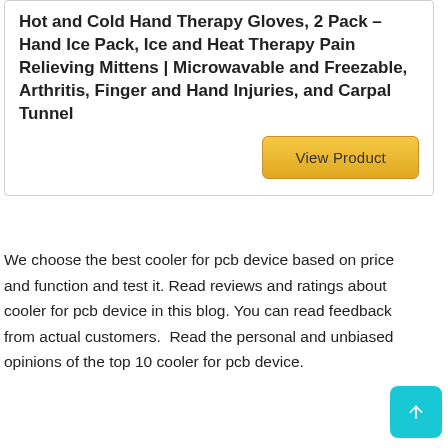Hot and Cold Hand Therapy Gloves, 2 Pack – Hand Ice Pack, Ice and Heat Therapy Pain Relieving Mittens | Microwavable and Freezable, Arthritis, Finger and Hand Injuries, and Carpal Tunnel
[Figure (other): Golden 'View Product' button]
We choose the best cooler for pcb device based on price and function and test it. Read reviews and ratings about cooler for pcb device in this blog. You can read feedback from actual customers.  Read the personal and unbiased opinions of the top 10 cooler for pcb device.